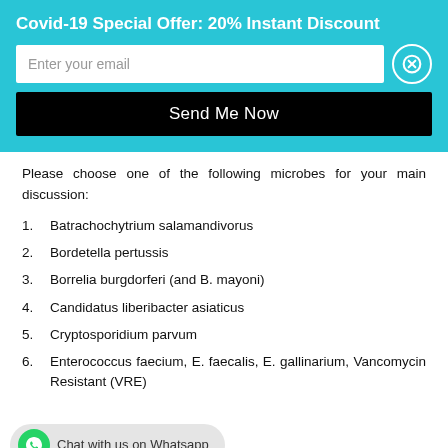Covid-19 Special Offer: 20% Instant Discount
Enter your email
Send Me Now
Please choose one of the following microbes for your main discussion:
1. Batrachochytrium salamandivorus
2. Bordetella pertussis
3. Borrelia burgdorferi (and B. mayoni)
4. Candidatus liberibacter asiaticus
5. Cryptosporidium parvum
6. Enterococcus faecium, E. faecalis, E. gallinarium, Vancomycin Resistant (VRE)
7. H1N1 (Swine Flu)
Chat with us on Whatsapp